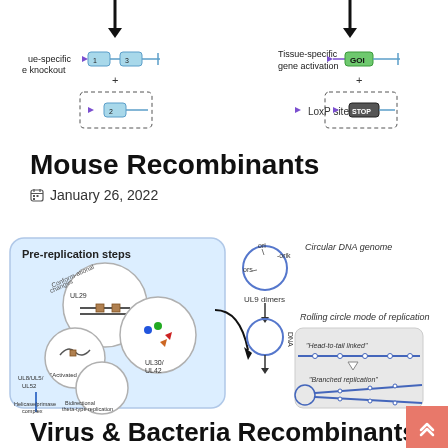[Figure (schematic): Partial diagram showing tissue-specific gene knockout and tissue-specific gene activation with LoxP sites, GOI (gene of interest), and STOP cassette elements. Arrows point downward to constructs with numbered exons and floxed elements.]
Mouse Recombinants
January 26, 2022
[Figure (schematic): Diagram of herpesvirus DNA replication showing pre-replication steps on the left (conformational changes, UL29, activated origin, helicase/primase complex, UL8/UL5/UL52, UL30/UL42, bidirectional theta-type replication) and circular DNA genome with UL9 dimers leading to rolling circle mode of replication on the right, including head-to-tail linked and branched replication intermediates.]
Virus & Bacteria Recombinants